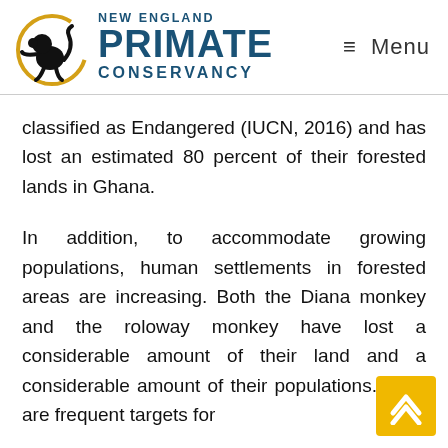New England Primate Conservancy — Menu
classified as Endangered (IUCN, 2016) and has lost an estimated 80 percent of their forested lands in Ghana.
In addition, to accommodate growing populations, human settlements in forested areas are increasing. Both the Diana monkey and the roloway monkey have lost a considerable amount of their land and a considerable amount of their populations. They are frequent targets for bushmeat hunters, for zoos, and for